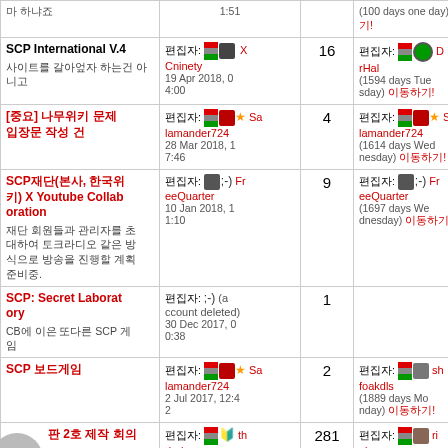| 제목 | 최근 편집 | 댓글 | 최근 댓글 |
| --- | --- | --- | --- |
| 마 하냐죠 | 1:51 |  | (100 days one day) 이동하기! |
| SCP International V.4
사이트를 갈아엎자 하는건 아니고 | 편집자: [icon] X Cninety
19 Apr 2018, 04:00 | 16 | 편집자: [icon] DrHal
(1594 days Tuesday) 이동하기! |
| [중요] 나무위키 문제 입장문 작성 건 | 편집자: [icon][star] Salamander724
28 Mar 2018, 17:46 | 4 | 편집자: [icon][star] Salamander724
(1614 days Wednesday) 이동하기! |
| SCP재단(본사, 한국위키) X Youtube Collaboration
재단 회원들과 관리자를 초대하여 토크라디오 같은 방식으로 방송을 진행할 계획 준비중. | 편집자: [icon] ;-) FreeQuarter
10 Jan 2018, 11:10 | 9 | 편집자: [icon] ;-) FreeQuarter
(1697 days Wednesday) 이동하기! |
| SCP: Secret Laboratory
CB에 이은 또다른 SCP 게임 | 편집자: ;-) (account deleted)
30 Dec 2017, 00:38 | 1 |  |
| SCP 보드게임 | 편집자: [icon][star] Salamander724
2 Jul 2017, 12:42 | 2 | 편집자: [icon] shfoakdls
(1889 days Monday) 이동하기! |
| 판 2호 제작 회의 | 편집자: [icon] thd-glasses
28 Mar 2015, 07:49 | 281 | 편집자: [icon] rinkaru
(1910 days Monday) 이동하기! |